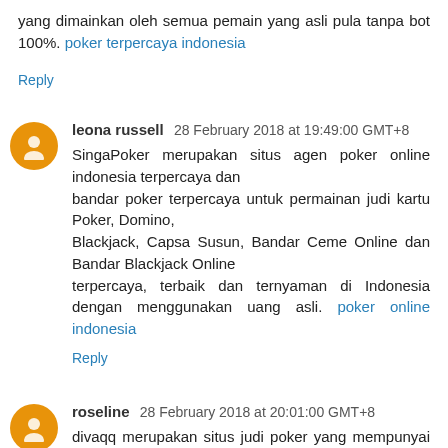yang dimainkan oleh semua pemain yang asli pula tanpa bot 100%. poker terpercaya indonesia
Reply
leona russell 28 February 2018 at 19:49:00 GMT+8
SingaPoker merupakan situs agen poker online indonesia terpercaya dan bandar poker terpercaya untuk permainan judi kartu Poker, Domino, Blackjack, Capsa Susun, Bandar Ceme Online dan Bandar Blackjack Online terpercaya, terbaik dan ternyaman di Indonesia dengan menggunakan uang asli. poker online indonesia
Reply
roseline 28 February 2018 at 20:01:00 GMT+8
divaqq merupakan situs judi poker yang mempunyai fasilitas capsa susun online, judi poker online, domino qiu qiu online dengan ribuan pemain dan proses transaksi